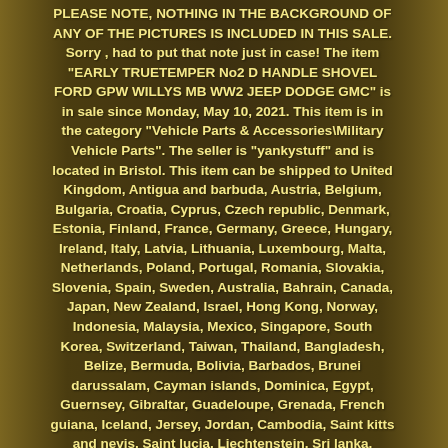PLEASE NOTE, NOTHING IN THE BACKGROUND OF ANY OF THE PICTURES IS INCLUDED IN THIS SALE. Sorry , had to put that note just in case! The item "EARLY TRUETEMPER No2 D HANDLE SHOVEL FORD GPW WILLYS MB WW2 JEEP DODGE GMC" is in sale since Monday, May 10, 2021. This item is in the category "Vehicle Parts & Accessories\Military Vehicle Parts". The seller is "yankystuff" and is located in Bristol. This item can be shipped to United Kingdom, Antigua and barbuda, Austria, Belgium, Bulgaria, Croatia, Cyprus, Czech republic, Denmark, Estonia, Finland, France, Germany, Greece, Hungary, Ireland, Italy, Latvia, Lithuania, Luxembourg, Malta, Netherlands, Poland, Portugal, Romania, Slovakia, Slovenia, Spain, Sweden, Australia, Bahrain, Canada, Japan, New Zealand, Israel, Hong Kong, Norway, Indonesia, Malaysia, Mexico, Singapore, South Korea, Switzerland, Taiwan, Thailand, Bangladesh, Belize, Bermuda, Bolivia, Barbados, Brunei darussalam, Cayman islands, Dominica, Egypt, Guernsey, Gibraltar, Guadeloupe, Grenada, French guiana, Iceland, Jersey, Jordan, Cambodia, Saint kitts and nevis, Saint lucia, Liechtenstein, Sri lanka, Macao, Monaco, Maldives, Montserrat, Martinique, Nicaragua, Oman, Pakistan, Paraguay, Reunion, Turks and caicos islands, Aruba,